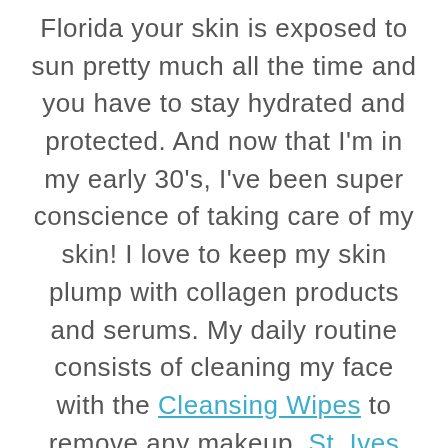Florida your skin is exposed to sun pretty much all the time and you have to stay hydrated and protected. And now that I'm in my early 30's, I've been super conscience of taking care of my skin! I love to keep my skin plump with collagen products and serums. My daily routine consists of cleaning my face with the Cleansing Wipes to remove any makeup, St. Ives Green Tea Scrub,